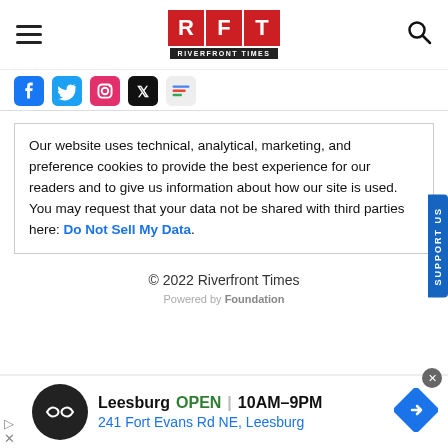[Figure (logo): RFT Riverfront Times logo — three red boxes with white letters R, F, T and black bar below reading RIVERFRONT TIMES]
[Figure (screenshot): Social media icons row: Facebook, Twitter, Instagram, and two others]
Our website uses technical, analytical, marketing, and preference cookies to provide the best experience for our readers and to give us information about how our site is used. You may request that your data not be shared with third parties here: Do Not Sell My Data.
© 2022 Riverfront Times
Powered by Foundation
[Figure (screenshot): Advertisement banner: Leesburg OPEN 10AM–9PM, 241 Fort Evans Rd NE, Leesburg with logo and map direction icon]